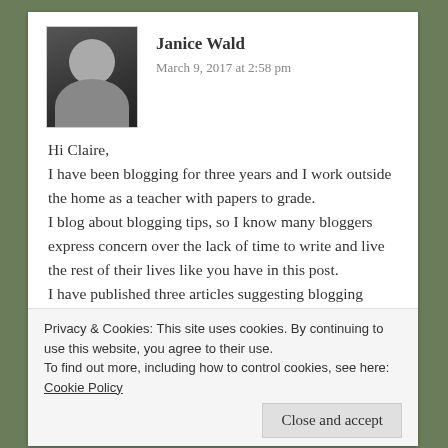[Figure (photo): Small avatar photo of Janice Wald, a woman with dark hair]
Janice Wald
March 9, 2017 at 2:58 pm
Hi Claire,
I have been blogging for three years and I work outside the home as a teacher with papers to grade.
I blog about blogging tips, so I know many bloggers express concern over the lack of time to write and live the rest of their lives like you have in this post.
I have published three articles suggesting blogging schedules that truly allow you to have time to “do it all”. I also blog about time-saving tools for bloggers.
I hope you will consider checking out my blog so you can have access to these articles.
Privacy & Cookies: This site uses cookies. By continuing to use this website, you agree to their use.
To find out more, including how to control cookies, see here: Cookie Policy
Close and accept